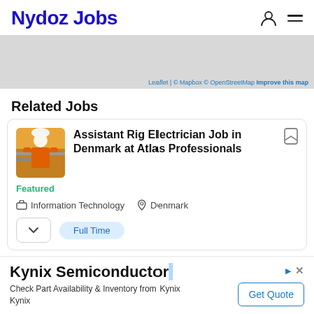Nydoz Jobs
[Figure (map): Map area with gray background showing Leaflet, Mapbox, OpenStreetMap attribution and Improve this map link]
Related Jobs
[Figure (photo): Worker in orange safety gear and white helmet at industrial site]
Assistant Rig Electrician Job in Denmark at Atlas Professionals
Featured
Information Technology   Denmark
Full Time
Kynix Semiconductor
Check Part Availability & Inventory from Kynix Kynix
Get Quote